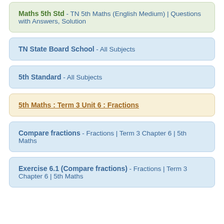Maths 5th Std - TN 5th Maths (English Medium) | Questions with Answers, Solution
TN State Board School - All Subjects
5th Standard - All Subjects
5th Maths : Term 3 Unit 6 : Fractions
Compare fractions - Fractions | Term 3 Chapter 6 | 5th Maths
Exercise 6.1 (Compare fractions) - Fractions | Term 3 Chapter 6 | 5th Maths